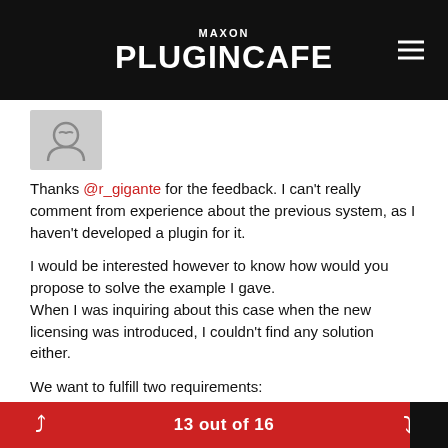MAXON PLUGINCAFE
[Figure (photo): User avatar icon showing a simple line-art face/head on a gray background]
Thanks @r_gigante for the feedback. I can't really comment from experience about the previous system, as I haven't developed a plugin for it.
I would be interested however to know how would you propose to solve the example I gave.
When I was inquiring about this case when the new licensing was introduced, I couldn't find any solution either.
We want to fulfill two requirements:
1. Provide a floating plugin license that can be installed in as many machines as the user wants.
2. If they have 20 c4d licenses and they bought 3 plugin
13 out of 16